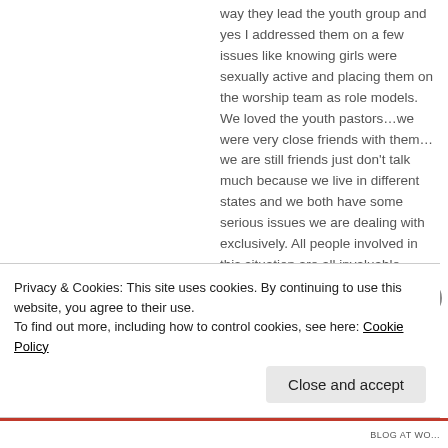way they lead the youth group and yes I addressed them on a few issues like knowing girls were sexually active and placing them on the worship team as role models. We loved the youth pastors…we were very close friends with them…we are still friends just don't talk much because we live in different states and we both have some serious issues we are dealing with exclusively. All people involved in this situation are all invaluable people in my
Privacy & Cookies: This site uses cookies. By continuing to use this website, you agree to their use.
To find out more, including how to control cookies, see here: Cookie Policy
Close and accept